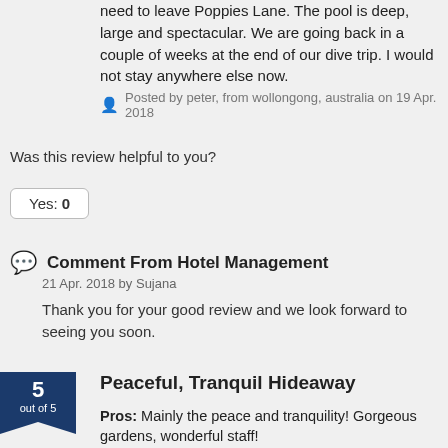need to leave Poppies Lane. The pool is deep, large and spectacular. We are going back in a couple of weeks at the end of our dive trip. I would not stay anywhere else now.
Posted by peter, from wollongong, australia on 19 Apr. 2018
Was this review helpful to you?
Yes: 0
Comment From Hotel Management
21 Apr. 2018 by Sujana
Thank you for your good review and we look forward to seeing you soon.
Peaceful, Tranquil Hideaway
Pros: Mainly the peace and tranquility! Gorgeous gardens, wonderful staff!
Cons: The only thing we had to ask for was a top sheet, because we don't like sleeping with the AC on and the bed just comes with a bottom sheet and doona
Location: Location is perfect, in Poppies Lane 1! TJ's Mexican across the road is our favourite Mexican restaurant anywhere! Kuta Beach minutes away.